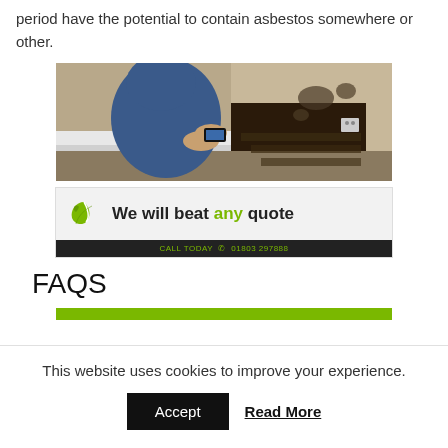period have the potential to contain asbestos somewhere or other.
[Figure (photo): Person in blue protective suit inspecting a dark crawl space or under-floor area with a mobile phone/torch]
[Figure (infographic): Banner reading 'We will beat any quote' with green leaf logo and dark bar below saying 'CALL TODAY 01803 297888']
FAQS
[Figure (other): Green horizontal bar, partially visible at bottom of page]
This website uses cookies to improve your experience.
Accept   Read More